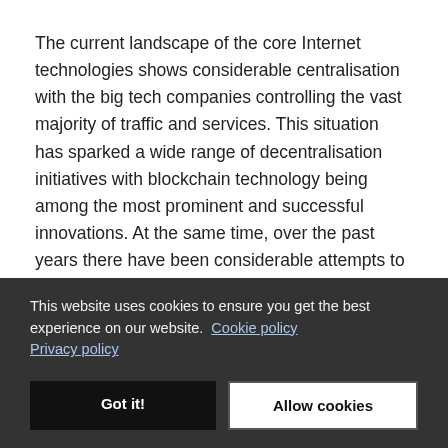The current landscape of the core Internet technologies shows considerable centralisation with the big tech companies controlling the vast majority of traffic and services. This situation has sparked a wide range of decentralisation initiatives with blockchain technology being among the most prominent and successful innovations. At the same time, over the past years there have been considerable attempts to address the security and privacy issues affecting the Domain Name System (DNS). To this end, it is claimed that Blockchain
This website uses cookies to ensure you get the best experience on our website. Cookie policy Privacy policy
Got it!
Allow cookies